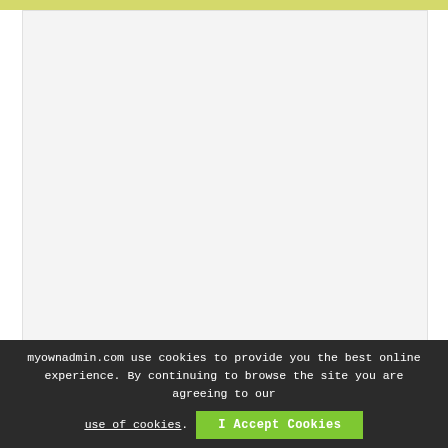[Figure (screenshot): Light olive/yellow-green top navigation bar strip]
[Figure (screenshot): Main content area with light gray background, mostly empty/blank page content region]
myownadmin.com use cookies to provide you the best online experience. By continuing to browse the site you are agreeing to our use of cookies. I Accept Cookies